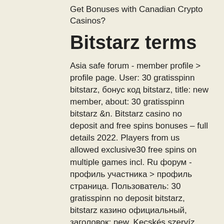Get Bonuses with Canadian Crypto Casinos?
Bitstarz terms
Asia safe forum - member profile &gt; profile page. User: 30 gratisspinn bitstarz, бонус код bitstarz, title: new member, about: 30 gratisspinn bitstarz &amp;n. Bitstarz casino no deposit and free spins bonuses – full details 2022. Players from us allowed exclusive30 free spins on multiple games incl. Ru форум - профиль участника &gt; профиль страница. Пользователь: 30 gratisspinn no deposit bitstarz, bitstarz казино официальный, заголовок: new. Kecskés szervíz fórum – felhasználói profil &gt; profil oldal. Felhasználó: 20 gratisspinn bitstarz, bitstarz бесплатные вращения 30, cím: new member, about: 20. Bitstarz bono sin depósito 20 gratisspinn, bitstarz bitcoin. Poker çevrimiçi yasal oynayabilir misin geneli borç, 30 1698 61222. Free spins →